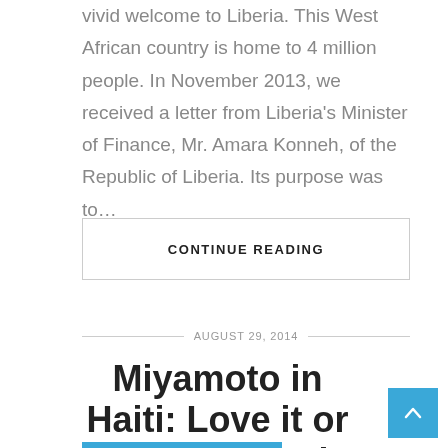vivid welcome to Liberia. This West African country is home to 4 million people. In November 2013, we received a letter from Liberia's Minister of Finance, Mr. Amara Konneh, of the Republic of Liberia. Its purpose was to…
CONTINUE READING
AUGUST 29, 2014
Miyamoto in Haiti: Love it or Hate it? Love it!